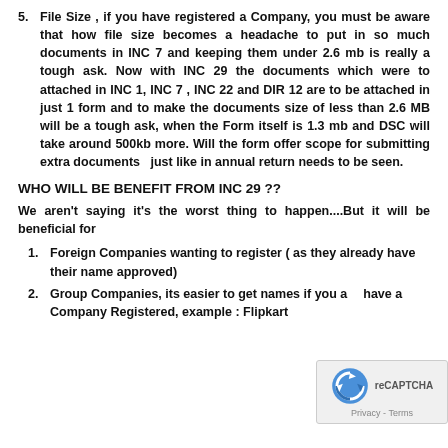5. File Size , if you have registered a Company, you must be aware that how file size becomes a headache to put in so much documents in INC 7 and keeping them under 2.6 mb is really a tough ask. Now with INC 29 the documents which were to attached in INC 1, INC 7 , INC 22 and DIR 12 are to be attached in just 1 form and to make the documents size of less than 2.6 MB will be a tough ask, when the Form itself is 1.3 mb and DSC will take around 500kb more. Will the form offer scope for submitting extra documents just like in annual return needs to be seen.
WHO WILL BE BENEFIT FROM INC 29 ??
We aren't saying it's the worst thing to happen....But it will be beneficial for
1. Foreign Companies wanting to register ( as they already have their name approved)
2. Group Companies, its easier to get names if you already have a Company Registered, example : Flipkart Online Services Private Limited Company, then the next...